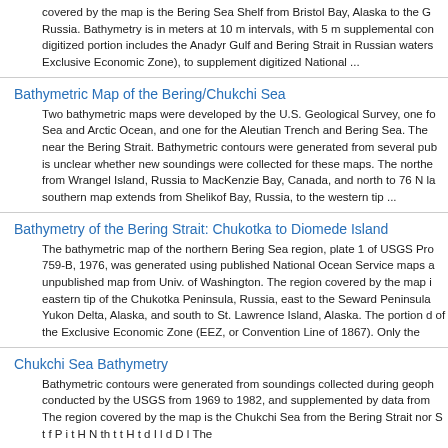covered by the map is the Bering Sea Shelf from Bristol Bay, Alaska to the G Russia. Bathymetry is in meters at 10 m intervals, with 5 m supplemental con digitized portion includes the Anadyr Gulf and Bering Strait in Russian waters Exclusive Economic Zone), to supplement digitized National ...
Bathymetric Map of the Bering/Chukchi Sea
Two bathymetric maps were developed by the U.S. Geological Survey, one fo Sea and Arctic Ocean, and one for the Aleutian Trench and Bering Sea. The near the Bering Strait. Bathymetric contours were generated from several pub is unclear whether new soundings were collected for these maps. The northe from Wrangel Island, Russia to MacKenzie Bay, Canada, and north to 76 N la southern map extends from Shelikof Bay, Russia, to the western tip ...
Bathymetry of the Bering Strait: Chukotka to Diomede Island
The bathymetric map of the northern Bering Sea region, plate 1 of USGS Pro 759-B, 1976, was generated using published National Ocean Service maps a unpublished map from Univ. of Washington. The region covered by the map i eastern tip of the Chukotka Peninsula, Russia, east to the Seward Peninsula Yukon Delta, Alaska, and south to St. Lawrence Island, Alaska. The portion d of the Exclusive Economic Zone (EEZ, or Convention Line of 1867). Only the
Chukchi Sea Bathymetry
Bathymetric contours were generated from soundings collected during geoph conducted by the USGS from 1969 to 1982, and supplemented by data from The region covered by the map is the Chukchi Sea from the Bering Strait nor S t f P i t H N th t t H t d I l d D l The